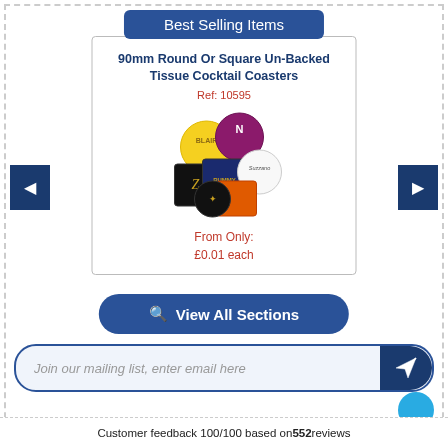Best Selling Items
90mm Round Or Square Un-Backed Tissue Cocktail Coasters
Ref: 10595
[Figure (photo): Photo of multiple printed cocktail coasters in various shapes, colors and designs including round and square coasters with logos]
From Only:
£0.01 each
◄
►
🔭 View All Sections
Join our mailing list, enter email here
Customer feedback 100/100 based on 552 reviews